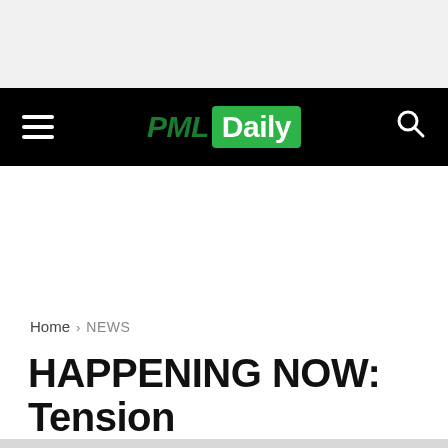[Figure (logo): PML Daily logo: 'PML' in dark green italic text followed by 'Daily' in white text on green rounded rectangle background, displayed in a black navigation bar with hamburger menu on left and search icon on right]
Home › NEWS
HAPPENING NOW: Tension